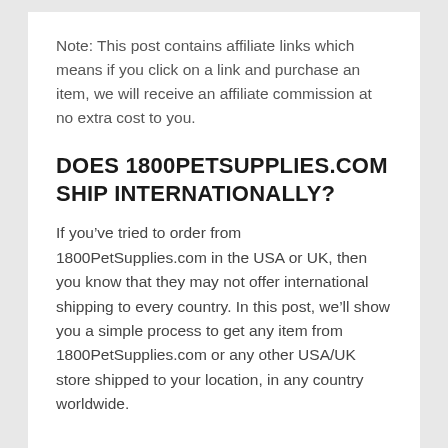Note: This post contains affiliate links which means if you click on a link and purchase an item, we will receive an affiliate commission at no extra cost to you.
DOES 1800PETSUPPLIES.COM SHIP INTERNATIONALLY?
If you’ve tried to order from 1800PetSupplies.com in the USA or UK, then you know that they may not offer international shipping to every country. In this post, we’ll show you a simple process to get any item from 1800PetSupplies.com or any other USA/UK store shipped to your location, in any country worldwide.